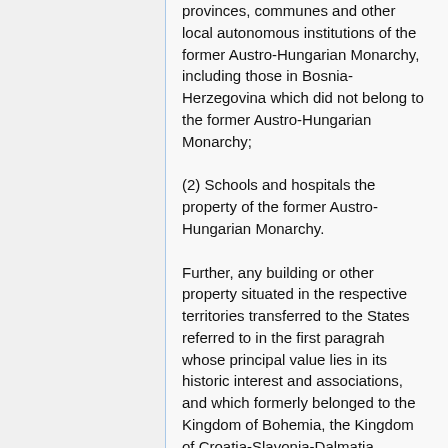provinces, communes and other local autonomous institutions of the former Austro-Hungarian Monarchy, including those in Bosnia-Herzegovina which did not belong to the former Austro-Hungarian Monarchy;
(2) Schools and hospitals the property of the former Austro-Hungarian Monarchy.
Further, any building or other property situated in the respective territories transferred to the States referred to in the first paragrah whose principal value lies in its historic interest and associations, and which formerly belonged to the Kingdom of Bohemia, the Kingdom of Croatia-Slavonia-Dalmatia, Bosnia-Herzegovina, the Republic of Ragusa, the Venetian Republic, or the Episcopal Principalities